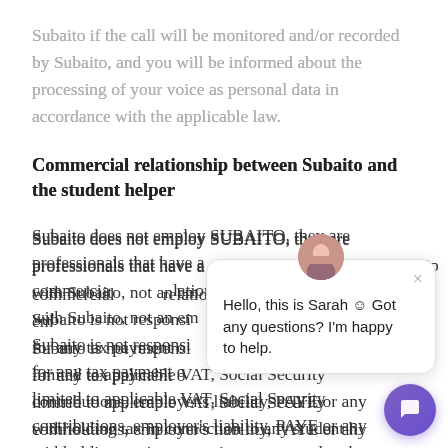Subaito if the call will be monitored and/or recorded by Subaito, and you will be informed about the processing of your voice as personal data in accordance with the applicable law.
Commercial relationship between Subaito and the student helper
Subaito does not employ SUBAITO, they are professionals that have a commercial relationship with Subaito, not an employment relationship. Subaito is not responsible for any tax payment or obligation, including but not limited to applicable VAT, Social Security contributions, employer's liability, PAYE or any withholding tax in connection to any student helper. The student helper assumes full and sole
[Figure (screenshot): Chat widget overlay showing avatar of Sarah, a close button (×), and message 'Hello, this is Sarah ☺ Got any questions? I'm happy to help.' with a purple circular chat button below.]